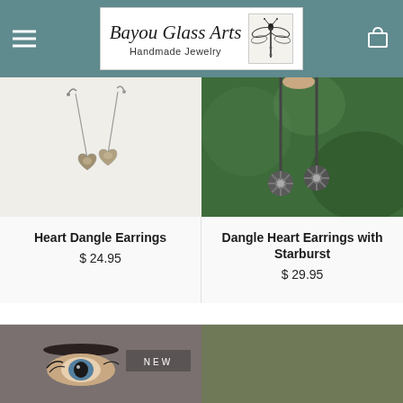Bayou Glass Arts — Handmade Jewelry
[Figure (photo): Heart Dangle Earrings product photo on white background]
Heart Dangle Earrings
$ 24.95
[Figure (photo): Dangle Heart Earrings with Starburst product photo on green background]
Dangle Heart Earrings with Starburst
$ 29.95
[Figure (photo): Close-up eye/face photo with NEW badge]
[Figure (photo): Olive green background product photo]